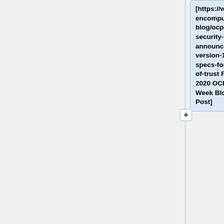[https://www.opencompute.org/blog/ocp-security-announces-version-10-specs-for-root-of-trust Fall 2020 OCP Tech Week Blog Post]
::-
[https://www.prnewswire.com/news-releases/ocp-announces-v1-0-of-security-requirements-documents-improving-